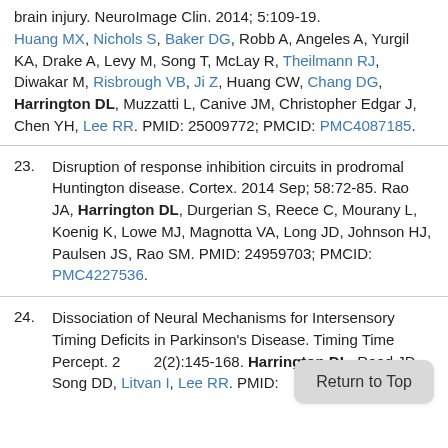brain injury. NeuroImage Clin. 2014; 5:109-19. Huang MX, Nichols S, Baker DG, Robb A, Angeles A, Yurgil KA, Drake A, Levy M, Song T, McLay R, Theilmann RJ, Diwakar M, Risbrough VB, Ji Z, Huang CW, Chang DG, Harrington DL, Muzzatti L, Canive JM, Christopher Edgar J, Chen YH, Lee RR. PMID: 25009772; PMCID: PMC4087185.
23. Disruption of response inhibition circuits in prodromal Huntington disease. Cortex. 2014 Sep; 58:72-85. Rao JA, Harrington DL, Durgerian S, Reece C, Mourany L, Koenig K, Lowe MJ, Magnotta VA, Long JD, Johnson HJ, Paulsen JS, Rao SM. PMID: 24959703; PMCID: PMC4227536.
24. Dissociation of Neural Mechanisms for Intersensory Timing Deficits in Parkinson's Disease. Timing Time Percept. 2014; 2(2):145-168. Harrington DL, Reed JD, Song DD, Litvan I, Lee RR. PMID: